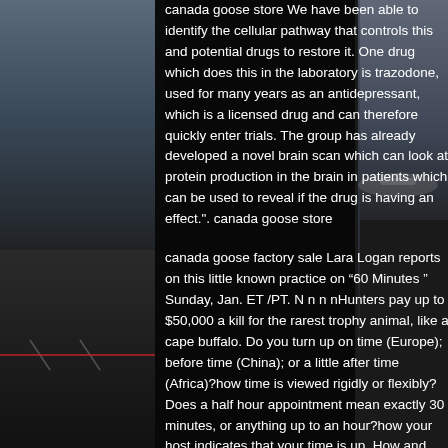[Figure (photo): Dark background image showing an airport/runway scene on the left side with people, trees, and cloudy sky, and an airplane on the right side. A dark semi-transparent overlay covers the center of the image.]
canada goose store We have been able to identify the cellular pathway that controls this and potential drugs to restore it. One drug which does this in the laboratory is trazodone, used for many years as an antidepressant, which is a licensed drug and can therefore quickly enter trials. The group has already developed a novel brain scan which can look at protein production in the brain in patients which can be used to reveal if the drug is having an effect.". canada goose store
canada goose factory sale Lara Logan reports on this little known practice on “60 Minutes ” Sunday, Jan. ET /PT. N n n nHunters pay up to $50,000 a kill for the rarest trophy animal, like a cape buffalo. Do you turn up on time (Europe); before time (China); or a little after time (Africa)?how time is viewed rigidly or flexibly? Does a half hour appointment mean exactly 30 minutes, or anything up to an hour?how your host indicates that your time is up. How and when can you or